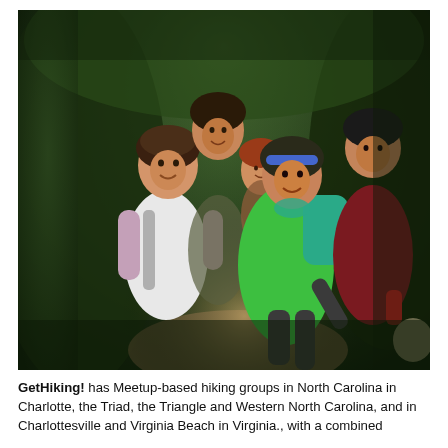[Figure (photo): Group of hikers posing on a forest trail, smiling at the camera. The group includes several women and at least one man, wearing hiking gear and backpacks. One woman in a bright green shirt is prominently in front. The background shows dense green forest vegetation.]
GetHiking! has Meetup-based hiking groups in North Carolina in Charlotte, the Triad, the Triangle and Western North Carolina, and in Charlottesville and Virginia Beach in Virginia., with a combined